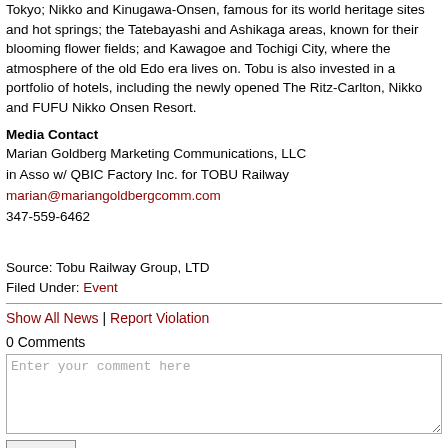Tokyo; Nikko and Kinugawa-Onsen, famous for its world heritage sites and hot springs; the Tatebayashi and Ashikaga areas, known for their blooming flower fields; and Kawagoe and Tochigi City, where the atmosphere of the old Edo era lives on. Tobu is also invested in a portfolio of hotels, including the newly opened The Ritz-Carlton, Nikko and FUFU Nikko Onsen Resort.
Media Contact
Marian Goldberg Marketing Communications, LLC
in Asso w/ QBIC Factory Inc. for TOBU Railway
marian@mariangoldbergcomm.com
347-559-6462
Source: Tobu Railway Group, LTD
Filed Under: Event
Show All News | Report Violation
0 Comments
Enter your comment here
Submit